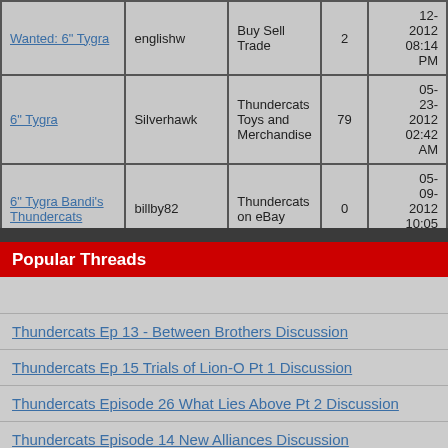| Title | User | Forum | Replies | Date |
| --- | --- | --- | --- | --- |
| Wanted: 6" Tygra | englishw | Buy Sell Trade | 2 | 12-2012 08:14 PM |
| 6" Tygra | Silverhawk | Thundercats Toys and Merchandise | 79 | 05-23-2012 02:42 AM |
| 6" Tygra Bandi's Thundercats | billby82 | Thundercats on eBay | 0 | 05-09-2012 10:05 AM |
Popular Threads
Thundercats Ep 13 - Between Brothers Discussion
Thundercats Ep 15 Trials of Lion-O Pt 1 Discussion
Thundercats Episode 26 What Lies Above Pt 2 Discussion
Thundercats Episode 14 New Alliances Discussion
Thundercats canceled?
Thundercats Episode 20: Curse of Ratilla Discussion
Thundercats Episode 21 Birth of the Blade Discussion